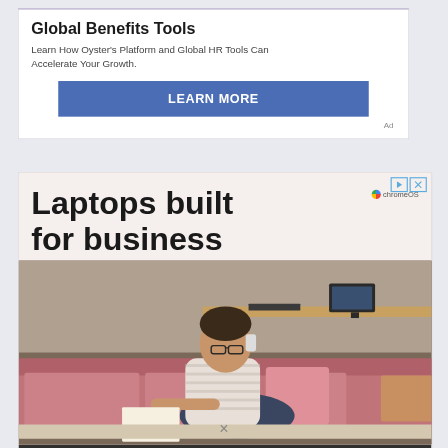[Figure (screenshot): Advertisement banner for Global Benefits Tools by Oyster. White background with bold title 'Global Benefits Tools', subtext 'Learn How Oyster's Platform and Global HR Tools Can Accelerate Your Growth.', blue 'LEARN MORE' button, and 'Ad' label.]
[Figure (screenshot): Advertisement banner for Chromebook laptops. Light beige background with large bold text 'Laptops built for business' and ChromeOS logo. Below is a photo of a person sitting on a pink sofa in an office, talking on the phone and writing. Dark footer bar with 'Learn More' text and a right arrow.]
×